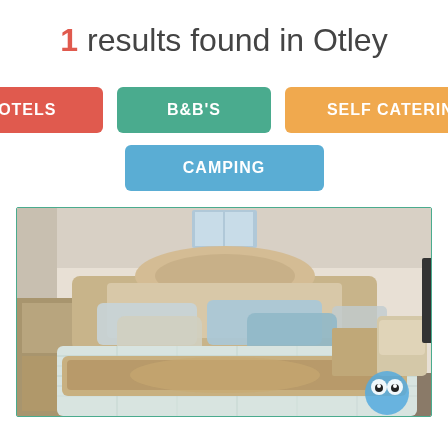1 results found in Otley
HOTELS
B&B'S
SELF CATERING
CAMPING
[Figure (photo): Interior photo of an elegant bedroom with an ornate French-style bed with a tufted headboard and footboard, light blue/grey plaid duvet, decorative pillows, bedside lamps on either side, and a wingback chair visible on the right.]